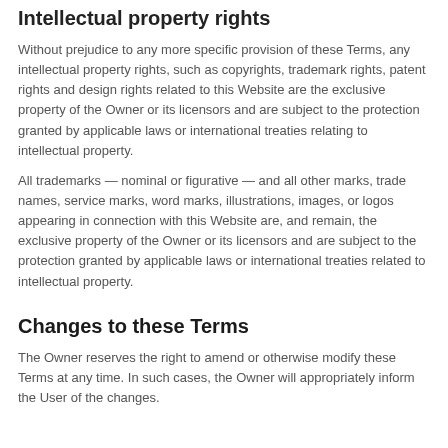Intellectual property rights
Without prejudice to any more specific provision of these Terms, any intellectual property rights, such as copyrights, trademark rights, patent rights and design rights related to this Website are the exclusive property of the Owner or its licensors and are subject to the protection granted by applicable laws or international treaties relating to intellectual property.
All trademarks — nominal or figurative — and all other marks, trade names, service marks, word marks, illustrations, images, or logos appearing in connection with this Website are, and remain, the exclusive property of the Owner or its licensors and are subject to the protection granted by applicable laws or international treaties related to intellectual property.
Changes to these Terms
The Owner reserves the right to amend or otherwise modify these Terms at any time. In such cases, the Owner will appropriately inform the User of the changes.